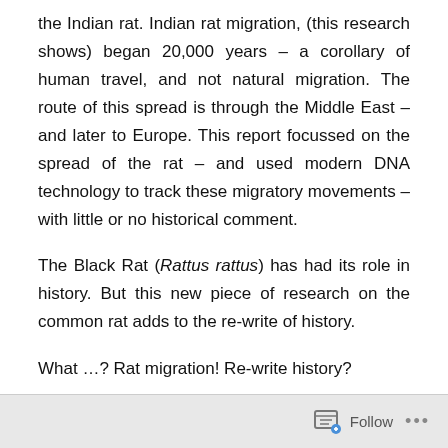the Indian rat. Indian rat migration, (this research shows) began 20,000 years – a corollary of human travel, and not natural migration. The route of this spread is through the Middle East – and later to Europe. This report focussed on the spread of the rat – and used modern DNA technology to track these migratory movements – with little or no historical comment.
The Black Rat (Rattus rattus) has had its role in history. But this new piece of research on the common rat adds to the re-write of history.
What …? Rat migration! Re-write history?
Aryan Invasion & Migration Theory
Follow